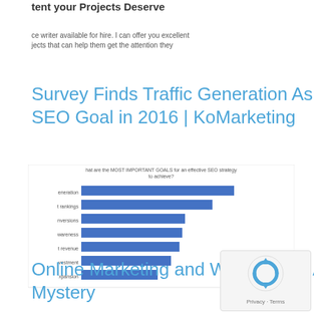tent your Projects Deserve
ce writer available for hire. I can offer you excellent jects that can help them get the attention they
Survey Finds Traffic Generation As Top SEO Goal in 2016 | KoMarketing
[Figure (bar-chart): hat are the MOST IMPORTANT GOALS for an effective SEO strategy to achieve?]
Online Marketing and Why It's Still A Mystery